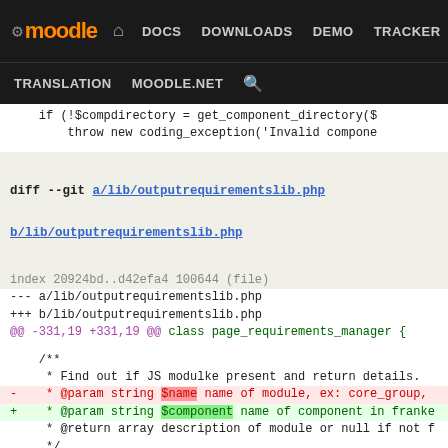moodle — DOCS DOWNLOADS DEMO TRACKER DEV | TRANSLATION MOODLE.NET
if (!$compdirectory = get_component_directory($
    throw new coding_exception('Invalid compone
diff --git a/lib/outputrequirementslib.php b/lib/outputrequirementslib.php
index 20924bd..d42efa4 100644 (file)
--- a/lib/outputrequirementslib.php
+++ b/lib/outputrequirementslib.php
@@ -331,19 +331,19 @@ class page_requirements_manager {
/**
     * Find out if JS modulke present and return details.
-    * @param string $name name of module, ex: core_group,
+    * @param string $component name of component in franke
     * @return array description of module or null if not f
     */
-    protected function find_module($name) {
+    protected function find_module($component) {
        global $CFG;

        $module = null;


-        if (strpos($name, 'core_') === 0) {
+        if (strpos($component, 'core_') === 0) {
        // must be some core stuff - list here is not